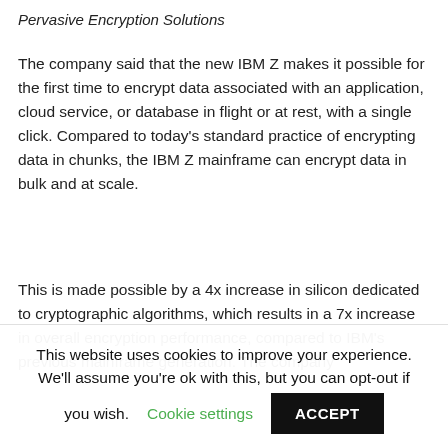Pervasive Encryption Solutions
The company said that the new IBM Z makes it possible for the first time to encrypt data associated with an application, cloud service, or database in flight or at rest, with a single click. Compared to today's standard practice of encrypting data in chunks, the IBM Z mainframe can encrypt data in bulk and at scale.
This is made possible by a 4x increase in silicon dedicated to cryptographic algorithms, which results in a 7x increase in overall encryption performance, compared to IBM's previous mainframe generation. The company
This website uses cookies to improve your experience. We'll assume you're ok with this, but you can opt-out if you wish. Cookie settings ACCEPT